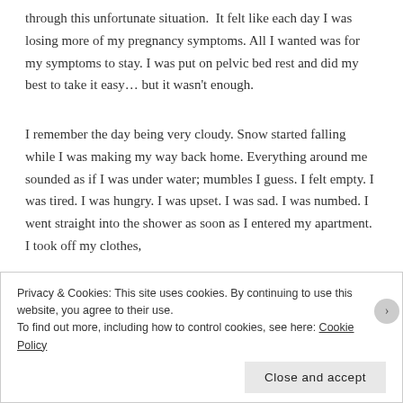through this unfortunate situation.  It felt like each day I was losing more of my pregnancy symptoms. All I wanted was for my symptoms to stay. I was put on pelvic bed rest and did my best to take it easy… but it wasn't enough.
I remember the day being very cloudy. Snow started falling while I was making my way back home. Everything around me sounded as if I was under water; mumbles I guess. I felt empty. I was tired. I was hungry. I was upset. I was sad. I was numbed. I went straight into the shower as soon as I entered my apartment. I took off my clothes,
Privacy & Cookies: This site uses cookies. By continuing to use this website, you agree to their use.
To find out more, including how to control cookies, see here: Cookie Policy
Close and accept